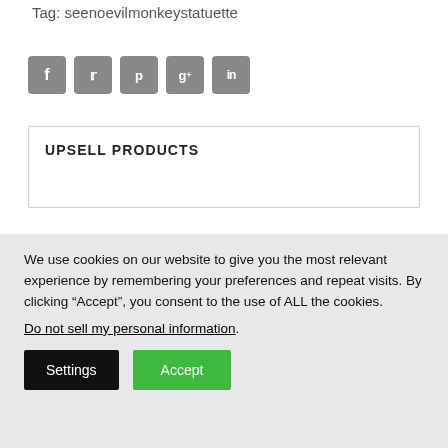Tag: seenoevilmonkeystatuette
[Figure (other): Social media share icons: Facebook (f), Twitter (bird/t), Pinterest (p), Google+ (g+), LinkedIn (in) — dark grey rounded square buttons]
UPSELL PRODUCTS
[Figure (photo): Partial photo of monkey statuettes (see no evil), metallic/bronze color, cropped at bottom of visible area]
We use cookies on our website to give you the most relevant experience by remembering your preferences and repeat visits. By clicking “Accept”, you consent to the use of ALL the cookies.
Do not sell my personal information.
Settings
Accept